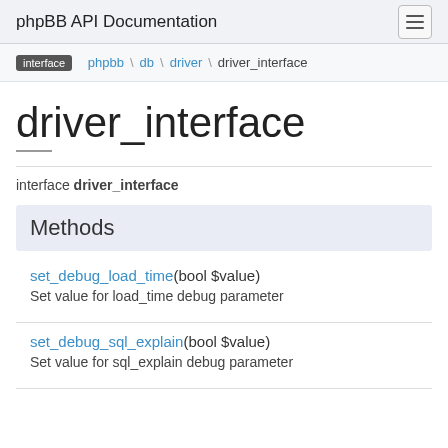phpBB API Documentation
interface \ phpbb \ db \ driver \ driver_interface
driver_interface
interface driver_interface
Methods
set_debug_load_time(bool $value)
Set value for load_time debug parameter
set_debug_sql_explain(bool $value)
Set value for sql_explain debug parameter